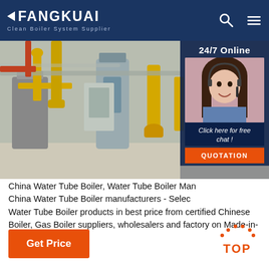FANGKUAI Clean Boiler System Supplier
[Figure (photo): Industrial boiler room with yellow pipes and large metal vessels, and a customer service agent overlay on the right with '24/7 Online' text and 'Click here for free chat!' button and QUOTATION button]
China Water Tube Boiler, Water Tube Boiler Manufacturers, China Water Tube Boiler manufacturers - Select high quality Water Tube Boiler products in best price from certified Chinese Boiler, Gas Boiler suppliers, wholesalers and factory on Made-in-China.com
[Figure (other): TOP scroll-to-top button with orange dots arc above and orange TOP text]
Get Price